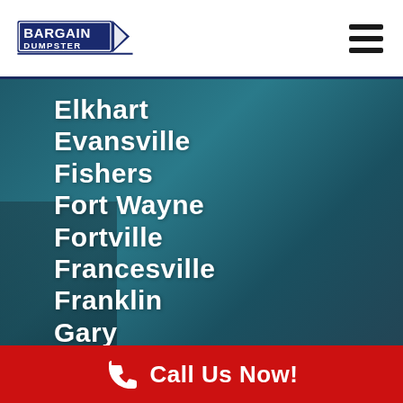[Figure (logo): Bargain Dumpster logo with blue text and dumpster graphic]
Elkhart
Evansville
Fishers
Fort Wayne
Fortville
Francesville
Franklin
Gary
Goshen
Call Us Now!